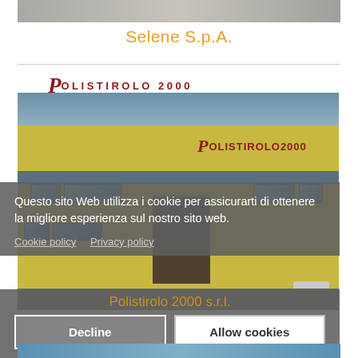[Figure (photo): Top gray image strip, partial product/building photo]
Selene S.p.A.
[Figure (logo): Polistirolo 2000 logo text]
[Figure (photo): Exterior photo of Polistirolo 2000 industrial building, yellow facade with company logo sign]
Questo sito Web utilizza i cookie per assicurarti di ottenere la migliore esperienza sul nostro sito web.
Cookie policy   Privacy policy
Polistirolo 2000 s.r.l.
Decline   Allow cookies
[Figure (photo): Bottom partial image strip]